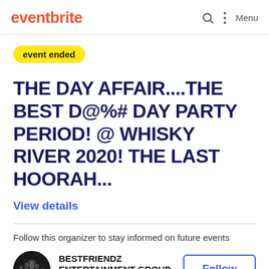eventbrite  Menu
event ended
THE DAY AFFAIR....THE BEST D@%# DAY PARTY PERIOD! @ WHISKY RIVER 2020! THE LAST HOORAH...
View details
Follow this organizer to stay informed on future events
BESTFRIENDZ ENTERTAINMENT GROUP
Event creator
Follow